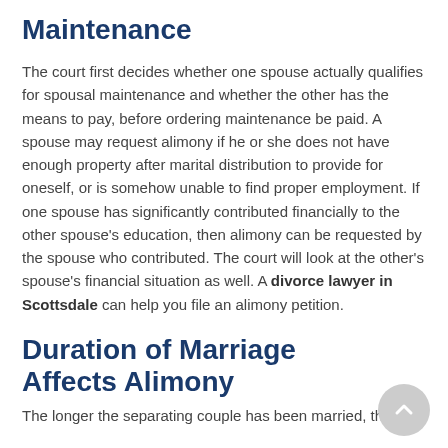Maintenance
The court first decides whether one spouse actually qualifies for spousal maintenance and whether the other has the means to pay, before ordering maintenance be paid. A spouse may request alimony if he or she does not have enough property after marital distribution to provide for oneself, or is somehow unable to find proper employment. If one spouse has significantly contributed financially to the other spouse's education, then alimony can be requested by the spouse who contributed. The court will look at the other's spouse's financial situation as well. A divorce lawyer in Scottsdale can help you file an alimony petition.
Duration of Marriage Affects Alimony
The longer the separating couple has been married, th